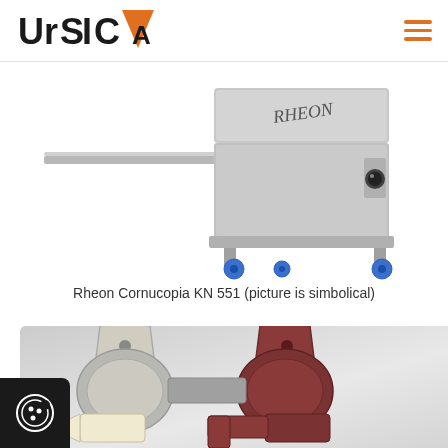URSICA logo and navigation menu
[Figure (photo): Rheon Cornucopia KN 551 machine on wheels with extended arm, stainless steel body, blue caster wheels, viewed from the side]
Rheon Cornucopia KN 551 (picture is simbolical)
[Figure (engineering-diagram): Close-up diagram of Rheon Cornucopia co-extrusion mechanism showing two hoppers (cream/grey and dark red/maroon) with interlocking piston/pump components and two-tone dough outputs (cream and dark red)]